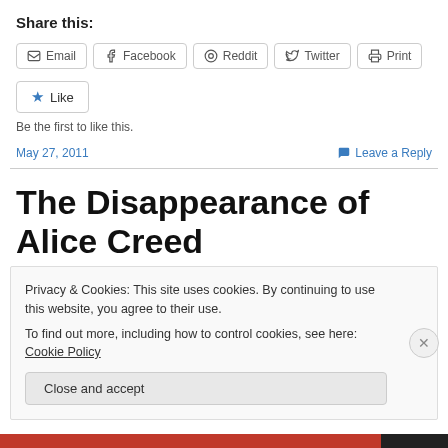Share this:
Email | Facebook | Reddit | Twitter | Print
Like
Be the first to like this.
May 27, 2011   Leave a Reply
The Disappearance of Alice Creed
Privacy & Cookies: This site uses cookies. By continuing to use this website, you agree to their use.
To find out more, including how to control cookies, see here: Cookie Policy
Close and accept